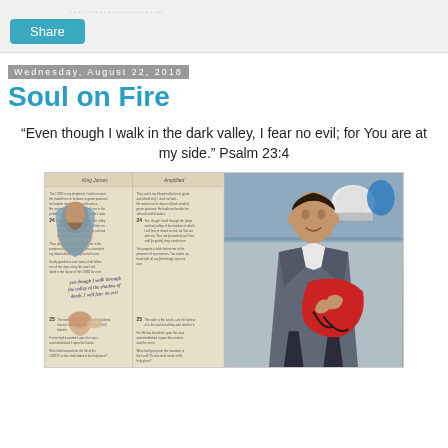............................ Share
Wednesday, August 22, 2018
Soul on Fire
“Even though I walk in the dark valley, I fear no evil; for You are at my side.” Psalm 23:4
[Figure (photo): Split image: left side shows an open illustrated Bible with Psalm 23 and handwritten note reading 'yea though I walk through the valley of the shadow of death, I will fear no evil'; right side shows a man in a grey suit jacket examining sports equipment (red helmet/gear) in what appears to be a sports store.]